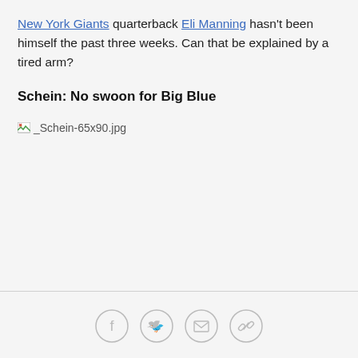New York Giants quarterback Eli Manning hasn't been himself the past three weeks. Can that be explained by a tired arm?
Schein: No swoon for Big Blue
[Figure (other): Broken image placeholder showing '_Schein-65x90.jpg' filename with broken image icon]
Social share icons: Facebook, Twitter, Email, Link